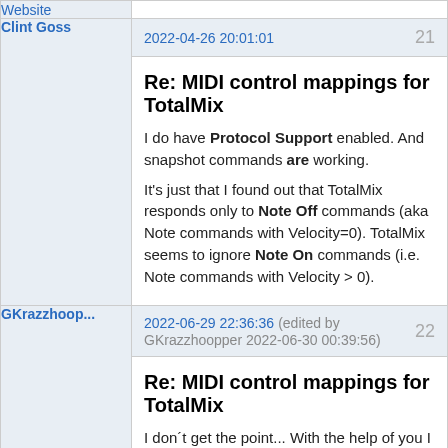| User | Post |
| --- | --- |
| Website |  |
| Clint Goss | 2022-04-26 20:01:01 | 21
Re: MIDI control mappings for TotalMix
I do have Protocol Support enabled. And snapshot commands are working.
It's just that I found out that TotalMix responds only to Note Off commands (aka Note commands with Velocity=0). TotalMix seems to ignore Note On commands (i.e. Note commands with Velocity > 0). |
| GKrazzhoop... | 2022-06-29 22:36:36 (edited by GKrazzhoopper 2022-06-30 00:39:56) | 22
Re: MIDI control mappings for TotalMix
I don´t get the point... With the help of you I finally realise my problem. It seemed to be impossible to set mute/solo buttons to a midi controller well. And |